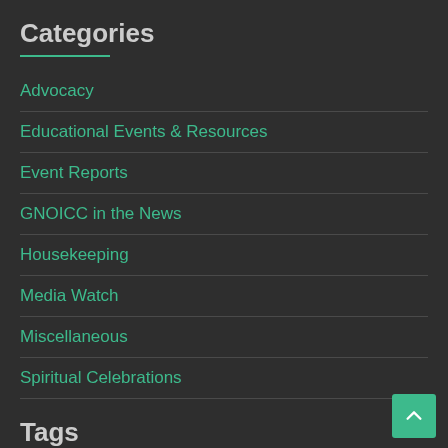Categories
Advocacy
Educational Events & Resources
Event Reports
GNOICC in the News
Housekeeping
Media Watch
Miscellaneous
Spiritual Celebrations
Tags
Air Pollution  Cancer Alley  Carbon Capture  Climate Change